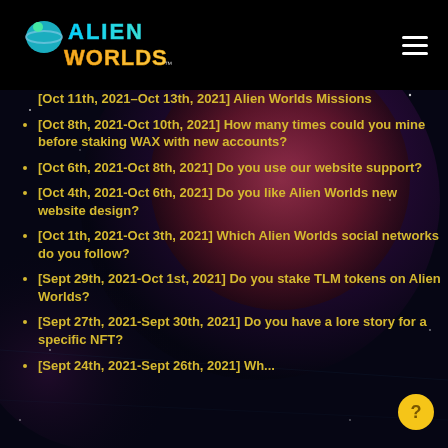[Figure (logo): Alien Worlds logo with planet and stylized text in blue/teal and orange/yellow gradient colors on black background]
[Oct 11th, 2021-Oct 13th, 2021] Alien Worlds Missions
[Oct 8th, 2021-Oct 10th, 2021] How many times could you mine before staking WAX with new accounts?
[Oct 6th, 2021-Oct 8th, 2021] Do you use our website support?
[Oct 4th, 2021-Oct 6th, 2021] Do you like Alien Worlds new website design?
[Oct 1th, 2021-Oct 3th, 2021] Which Alien Worlds social networks do you follow?
[Sept 29th, 2021-Oct 1st, 2021] Do you stake TLM tokens on Alien Worlds?
[Sept 27th, 2021-Sept 30th, 2021] Do you have a lore story for a specific NFT?
[Sept 24th, 2021-Sept 26th, 2021] Wh...